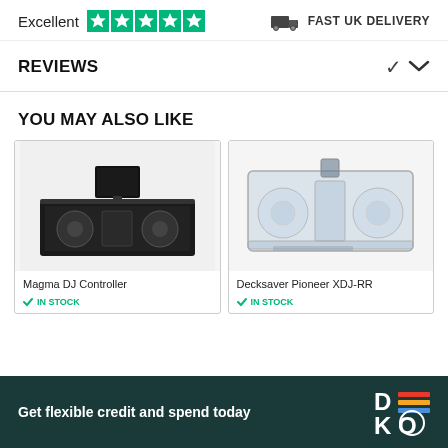[Figure (infographic): Trustpilot Excellent rating with 5 green stars, and Fast UK Delivery icon with truck]
REVIEWS
YOU MAY ALSO LIKE
[Figure (photo): Magma DJ Controller flight case with laptop stand and DJ equipment]
Magma DJ Controller
[Figure (photo): Decksaver Pioneer XDJ-RR protective cover, clear polycarbonate]
Decksaver Pioneer XDJ-RR
Get flexible credit and spend today